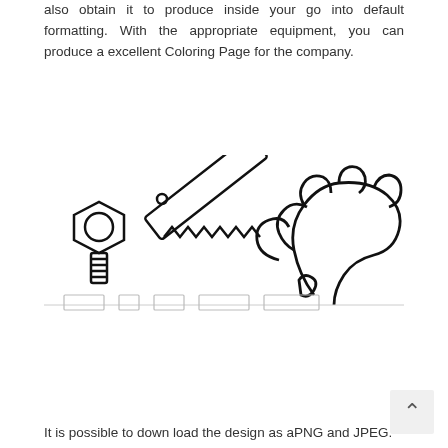also obtain it to produce inside your go into default formatting. With the appropriate equipment, you can produce a excellent Coloring Page for the company.
[Figure (illustration): Black and white line drawing illustrations of tools and hardware items (nuts, bolts, saw, hand tools) partially cropped, arranged in a row on a white background.]
It is possible to down load the design as aPNG and JPEG.